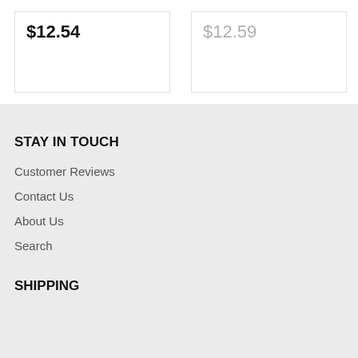$12.54
$12.59
STAY IN TOUCH
Customer Reviews
Contact Us
About Us
Search
SHIPPING